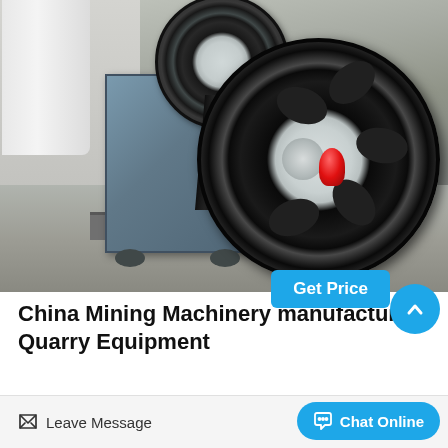[Figure (photo): Photo of a jaw crusher machine with a large flywheel, mounted in an industrial setting on a concrete floor. The machine is grey/blue metal with a prominent black flywheel with oval cutouts and a red cap on the axle. A smaller flywheel is visible in the background at top.]
China Mining Machinery manufacturer, Quarry Equipment
Sep 10, 2021 China Mining Mach...
Get Price
Leave Message
Chat Online